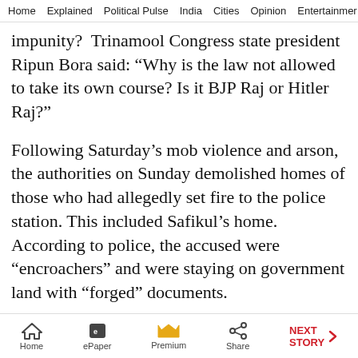Home  Explained  Political Pulse  India  Cities  Opinion  Entertainment
impunity?  Trinamool Congress state president Ripun Bora said: “Why is the law not allowed to take its own course? Is it BJP Raj or Hitler Raj?”
Following Saturday’s mob violence and arson, the authorities on Sunday demolished homes of those who had allegedly set fire to the police station. This included Safikul’s home. According to police, the accused were “encroachers” and were staying on government land with “forged” documents.
© The Indian Express (P) Ltd
First published on: 24-05-2022 at 02:12:30 am
Home  ePaper  Premium  Share  NEXT STORY